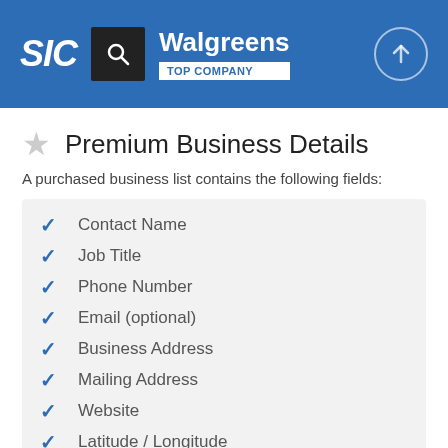SIC | Walgreens | TOP COMPANY
Premium Business Details
A purchased business list contains the following fields:
Contact Name
Job Title
Phone Number
Email (optional)
Business Address
Mailing Address
Website
Latitude / Longitude
Modeled Credit Rating
Square Footage